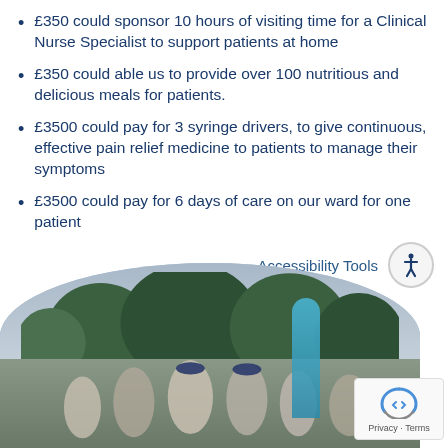£350 could sponsor 10 hours of visiting time for a Clinical Nurse Specialist to support patients at home
£350 could able us to provide over 100 nutritious and delicious meals for patients.
£3500 could pay for 3 syringe drivers, to give continuous, effective pain relief medicine to patients to manage their symptoms
£3500 could pay for 6 days of care on our ward for one patient
Accessibility Tools
[Figure (photo): Outdoor group photo showing people gathered in a park or field with trees and cloudy sky in background, image cropped with rounded arch top]